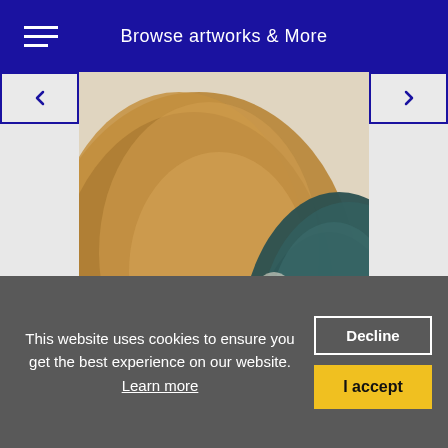Browse artworks & More
[Figure (photo): Close-up photograph of an abstract painting by Paul Jenkins, showing warm golden-brown and teal/dark green acrylic paint forms against a light background, cropped to show two large rounded color fields.]
Phenomena Winter Harth
PAUL JENKINS (1923 - 2012)
This website uses cookies to ensure you get the best experience on our website. Learn more
Decline
I accept
CATEGORIES ... CAMILLE PIS... AND HIS